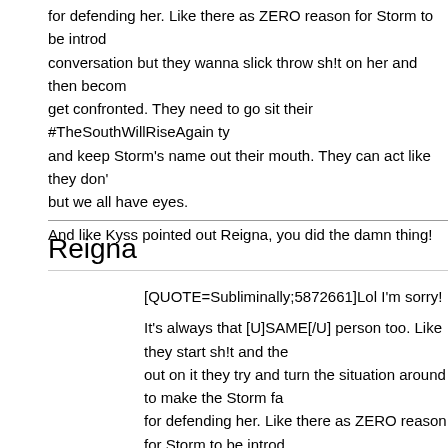for defending her. Like there as ZERO reason for Storm to be introd conversation but they wanna slick throw sh!t on her and then becom get confronted. They need to go sit their #TheSouthWillRiseAgain ty and keep Storm's name out their mouth. They can act like they don' but we all have eyes.
And like Kyss pointed out Reigna, you did the damn thing!
Reigna
[QUOTE=Subliminally;5872661]Lol I'm sorry!
It's always that [U]SAME[/U] person too. Like they start sh!t and the out on it they try and turn the situation around to make the Storm fa for defending her. Like there as ZERO reason for Storm to be introd conversation but they wanna slick throw sh!t on her and then becom get confronted. They need to go sit their #TheSouthWillRiseAgain ty and keep Storm's name out their mouth. They can act like they don' but we all have eyes.
And like Kyss pointed out Reigna, you did the damn thing![/QUOTE]
AHHHHHHHHHH XD "the south would ride again energy was very s